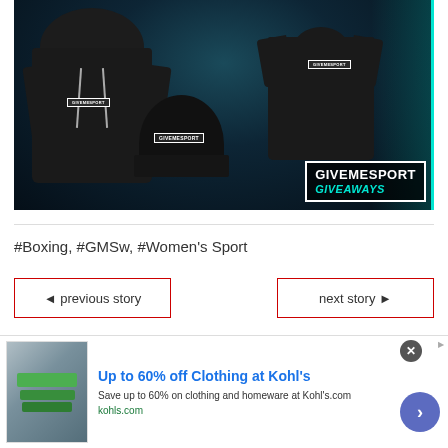[Figure (photo): GiveMeSport branded merchandise including a black hoodie, black t-shirt, and black beanie hat displayed against a dark sports arena background with cyan neon glow. A GiveMeSport Giveaways logo badge appears in the bottom right of the image.]
#Boxing, #GMSw, #Women's Sport
◄ previous story
next story ►
[Figure (screenshot): Advertisement banner: 'Up to 60% off Clothing at Kohl's' with text 'Save up to 60% on clothing and homeware at Kohl's.com' and URL kohls.com, with a blue circular arrow button on the right.]